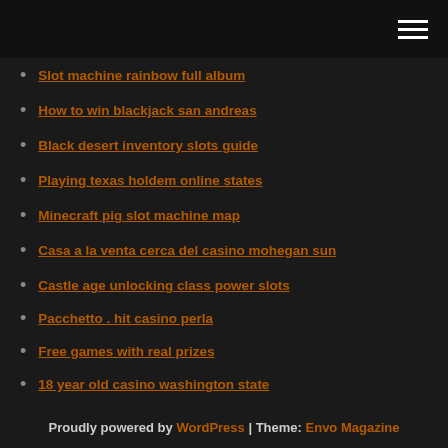[hamburger menu icon]
Slot machine rainbow full album
How to win blackjack san andreas
Black desert inventory slots guide
Playing texas holdem online states
Minecraft pig slot machine map
Casa a la venta cerca del casino mohegan sun
Castle age unlocking class power slots
Pacchetto . hit casino perla
Free games with real prizes
18 year old casino washington state
Mardi gras queen casino tarpon springs fl
Proudly powered by WordPress | Theme: Envo Magazine